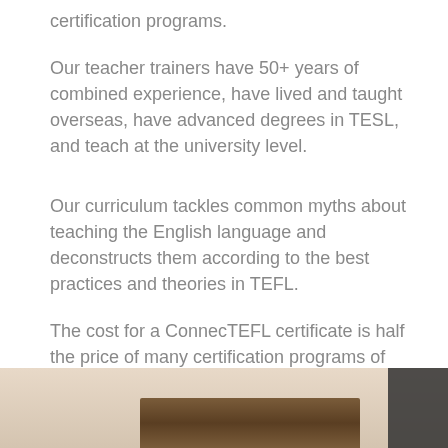certification programs.
Our teacher trainers have 50+ years of combined experience, have lived and taught overseas, have advanced degrees in TESL, and teach at the university level.
Our curriculum tackles common myths about teaching the English language and deconstructs them according to the best practices and theories in TEFL.
The cost for a ConnecTEFL certificate is half the price of many certification programs of the same value which include practicum.
[Figure (photo): Bottom portion of a photo showing a wooden board/sign on a beige/tan surface, with a dark panel on the right edge.]